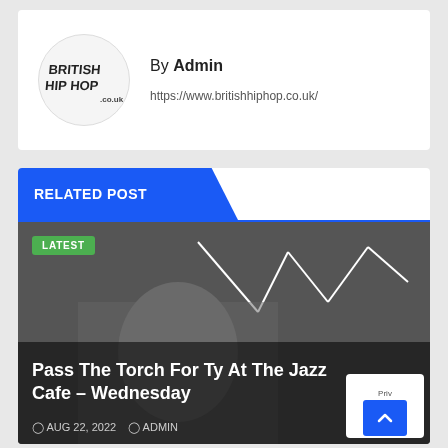[Figure (logo): British Hip Hop logo in a white circle]
By Admin
https://www.britishhiphop.co.uk/
RELATED POST
[Figure (photo): Black and white photo of a person with a crown drawn in white lines above their head]
LATEST
Pass The Torch For Ty At The Jazz Cafe – Wednesday
AUG 22, 2022  ADMIN